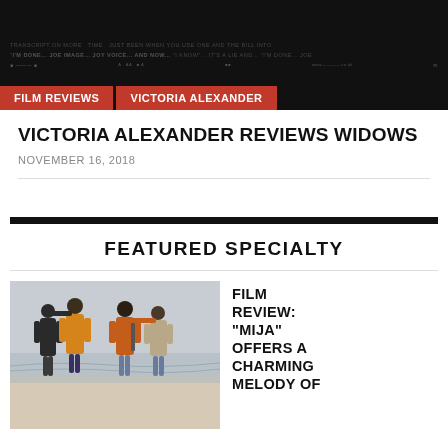[Figure (photo): Dark movie poster/banner image with text overlays for film review website header]
FILM REVIEWS
VICTORIA ALEXANDER
VICTORIA ALEXANDER REVIEWS WIDOWS
NOVEMBER 16, 2018
FEATURED SPECIALTY
[Figure (photo): Four people standing on a beach with their backs to the camera, arms around each other]
FILM REVIEW: "MIJA" OFFERS A CHARMING MELODY OF